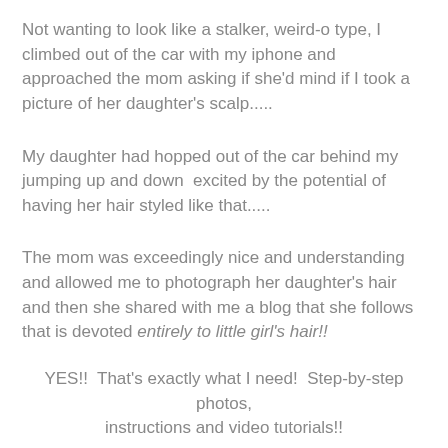Not wanting to look like a stalker, weird-o type, I climbed out of the car with my iphone and approached the mom asking if she'd mind if I took a picture of her daughter's scalp.....
My daughter had hopped out of the car behind my jumping up and down  excited by the potential of having her hair styled like that.....
The mom was exceedingly nice and understanding and allowed me to photograph her daughter's hair and then she shared with me a blog that she follows that is devoted entirely to little girl's hair!!
YES!!  That's exactly what I need!  Step-by-step photos, instructions and video tutorials!!